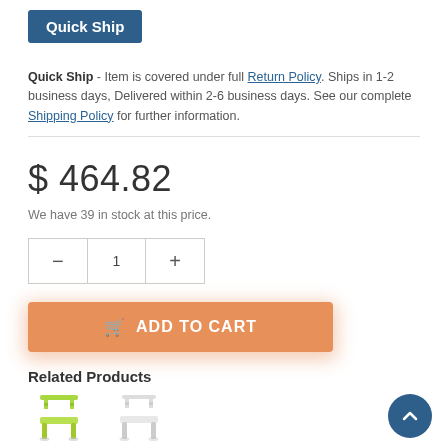[Figure (other): Quick Ship badge — dark blue rectangle with white bold text 'Quick Ship']
Quick Ship - Item is covered under full Return Policy. Ships in 1-2 business days, Delivered within 2-6 business days. See our complete Shipping Policy for further information.
$ 464.82
We have 39 in stock at this price.
[Figure (other): Quantity selector control with minus button, quantity value 1, and plus button]
[Figure (other): Orange 'ADD TO CART' button with shopping cart icon]
Related Products
[Figure (other): Two product thumbnail images of chairs — a green/lime chair and a white/grey chair]
[Figure (other): Blue circular scroll-to-top button with upward chevron arrow]